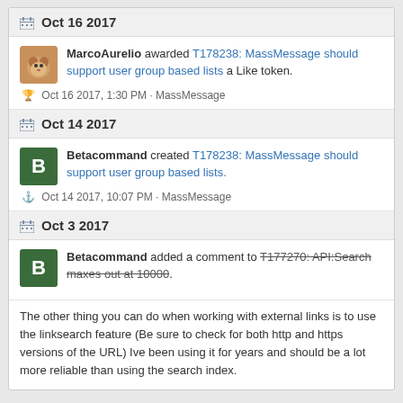Oct 16 2017
MarcoAurelio awarded T178238: MassMessage should support user group based lists a Like token.
Oct 16 2017, 1:30 PM · MassMessage
Oct 14 2017
Betacommand created T178238: MassMessage should support user group based lists.
Oct 14 2017, 10:07 PM · MassMessage
Oct 3 2017
Betacommand added a comment to T177270: API:Search maxes out at 10000.
The other thing you can do when working with external links is to use the linksearch feature (Be sure to check for both http and https versions of the URL) Ive been using it for years and should be a lot more reliable than using the search index.